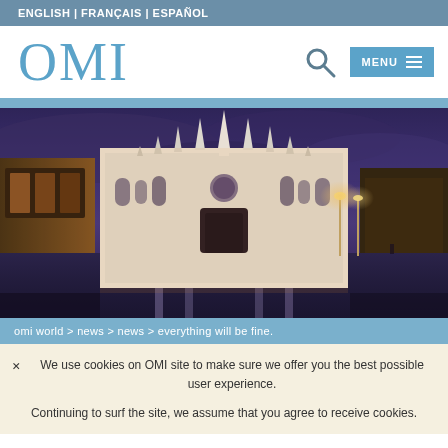ENGLISH | FRANÇAIS | ESPAÑOL
OMI
[Figure (screenshot): Navigation bar with OMI logo on left, search icon and MENU button with hamburger icon on right]
[Figure (photo): Night photograph of Milan Cathedral (Duomo di Milano) illuminated with golden lights, reflecting on wet pavement in the plaza, with purple-blue dramatic sky]
omi world > news > news > everything will be fine.
× We use cookies on OMI site to make sure we offer you the best possible user experience.
Continuing to surf the site, we assume that you agree to receive cookies.